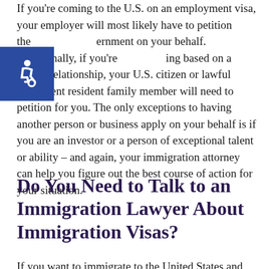If you're coming to the U.S. on an employment visa, your employer will most likely have to petition the government on your behalf. Additionally, if you're coming based on a family relationship, your U.S. citizen or lawful permanent resident family member will need to petition for you. The only exceptions to having another person or business apply on your behalf is if you are an investor or a person of exceptional talent or ability – and again, your immigration attorney can help you figure out the best course of action for your situation.
Do You Need to Talk to an Immigration Lawyer About Immigration Visas?
If you want to immigrate to the United States and